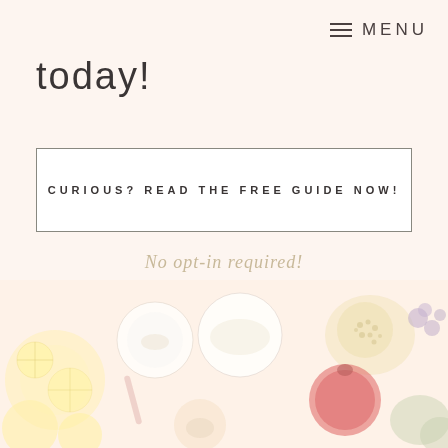MENU
today!
CURIOUS? READ THE FREE GUIDE NOW!
No opt-in required!
[Figure (photo): Overhead flat-lay photo of food ingredients and wellness items including lemons, bowls, pomegranate, herbs and other colorful items on a white background, washed out with warm tones]